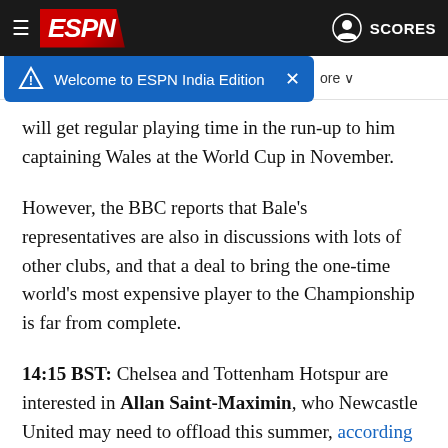ESPN - Welcome to ESPN India Edition
will get regular playing time in the run-up to him captaining Wales at the World Cup in November.
However, the BBC reports that Bale's representatives are also in discussions with lots of other clubs, and that a deal to bring the one-time world's most expensive player to the Championship is far from complete.
14:15 BST: Chelsea and Tottenham Hotspur are interested in Allan Saint-Maximin, who Newcastle United may need to offload this summer, according to the Daily Mail.
The Magpies have held contract talks with the French forward, but are restricted by their wage structure as to what they can offer him.